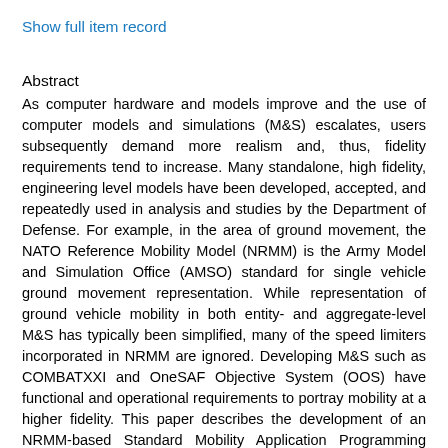Show full item record
Abstract
As computer hardware and models improve and the use of computer models and simulations (M&S) escalates, users subsequently demand more realism and, thus, fidelity requirements tend to increase. Many standalone, high fidelity, engineering level models have been developed, accepted, and repeatedly used in analysis and studies by the Department of Defense. For example, in the area of ground movement, the NATO Reference Mobility Model (NRMM) is the Army Model and Simulation Office (AMSO) standard for single vehicle ground movement representation. While representation of ground vehicle mobility in both entity- and aggregate-level M&S has typically been simplified, many of the speed limiters incorporated in NRMM are ignored. Developing M&S such as COMBATXXI and OneSAF Objective System (OOS) have functional and operational requirements to portray mobility at a higher fidelity. This paper describes the development of an NRMM-based Standard Mobility Application Programming Interface as a means of readily achieving higher-fidelity movement representation by incorporating terrain-limited speeds into M&S. The Standard Mobility API was written in Java and utilized Extensible Markup